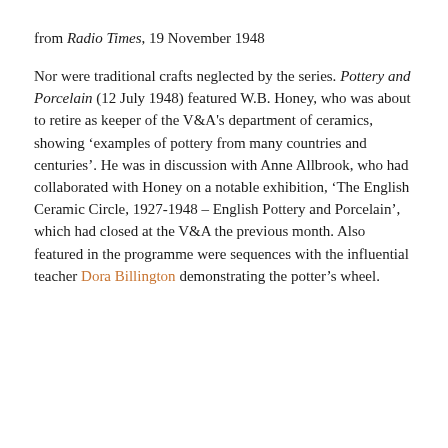from Radio Times, 19 November 1948
Nor were traditional crafts neglected by the series. Pottery and Porcelain (12 July 1948) featured W.B. Honey, who was about to retire as keeper of the V&A's department of ceramics, showing ‘examples of pottery from many countries and centuries’. He was in discussion with Anne Allbrook, who had collaborated with Honey on a notable exhibition, ‘The English Ceramic Circle, 1927-1948 – English Pottery and Porcelain’, which had closed at the V&A the previous month. Also featured in the programme were sequences with the influential teacher Dora Billington demonstrating the potter’s wheel.